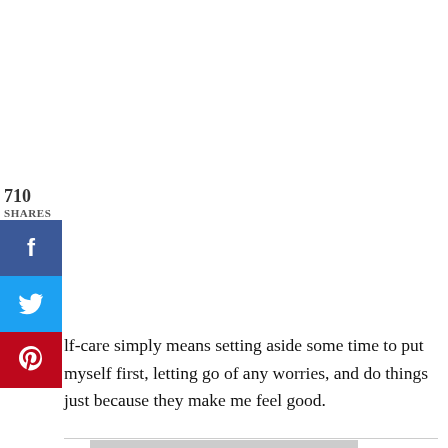710
SHARES
[Figure (other): Facebook share button (blue)]
[Figure (other): Twitter share button (light blue)]
[Figure (other): Pinterest share button (red)]
lf-care simply means setting aside some time to put myself first, letting go of any worries, and do things just because they make me feel good.
[Figure (other): Grey advertisement placeholder box]